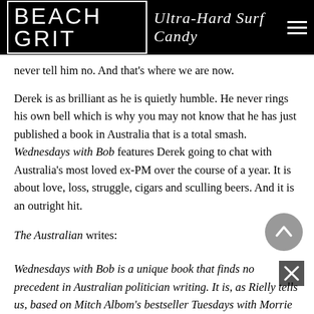BEACH GRIT Ultra-Hard Surf Candy
never tell him no. And that’s where we are now.
Derek is as brilliant as he is quietly humble. He never rings his own bell which is why you may not know that he has just published a book in Australia that is a total smash. Wednesdays with Bob features Derek going to chat with Australia’s most loved ex-PM over the course of a year. It is about love, loss, struggle, cigars and sculling beers. And it is an outright hit.
The Australian writes:
Wednesdays with Bob is a unique book that finds no precedent in Australian politician writing. It is, as Rielly tells us, based on Mitch Albom’s bestseller Tuesdays with Morrie